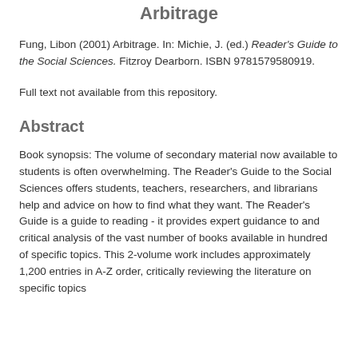Arbitrage
Fung, Libon (2001) Arbitrage. In: Michie, J. (ed.) Reader's Guide to the Social Sciences. Fitzroy Dearborn. ISBN 9781579580919.
Full text not available from this repository.
Abstract
Book synopsis: The volume of secondary material now available to students is often overwhelming. The Reader's Guide to the Social Sciences offers students, teachers, researchers, and librarians help and advice on how to find what they want. The Reader's Guide is a guide to reading - it provides expert guidance to and critical analysis of the vast number of books available in hundred of specific topics. This 2-volume work includes approximately 1,200 entries in A-Z order, critically reviewing the literature on specific topics